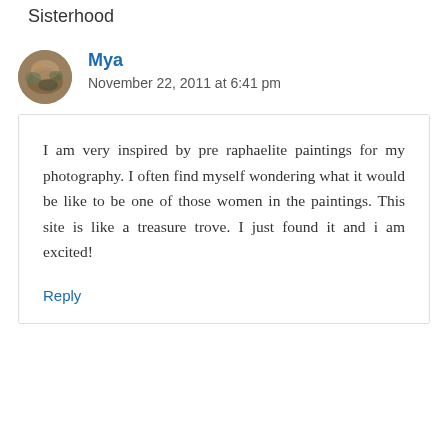Sisterhood
Mya
November 22, 2011 at 6:41 pm
I am very inspired by pre raphaelite paintings for my photography. I often find myself wondering what it would be like to be one of those women in the paintings. This site is like a treasure trove. I just found it and i am excited!
Reply